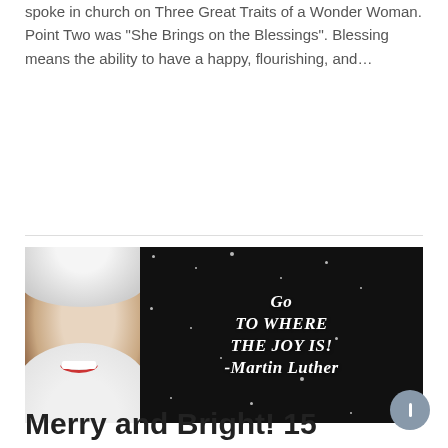spoke in church on Three Great Traits of a Wonder Woman. Point Two was “She Brings on the Blessings”. Blessing means the ability to have a happy, flourishing, and…
Read more
[Figure (photo): A woman in a white fur-trimmed hood laughing joyfully on the left side, with a black background featuring white decorative script text reading 'Go To Where The Joy Is! -Martin Luther' with snow dots scattered throughout.]
Merry and Bright! 15